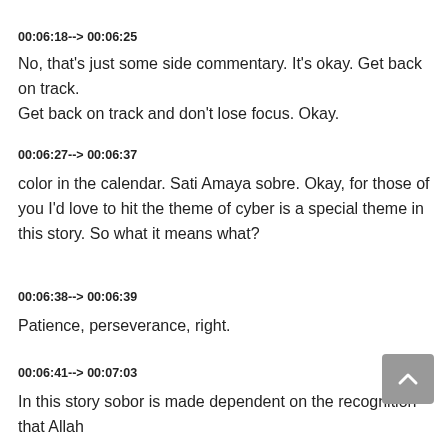00:06:18--> 00:06:25
No, that's just some side commentary. It's okay. Get back on track. Get back on track and don't lose focus. Okay.
00:06:27--> 00:06:37
color in the calendar. Sati Amaya sobre. Okay, for those of you I'd love to hit the theme of cyber is a special theme in this story. So what it means what?
00:06:38--> 00:06:39
Patience, perseverance, right.
00:06:41--> 00:07:03
In this story sobor is made dependent on the recognition that Allah